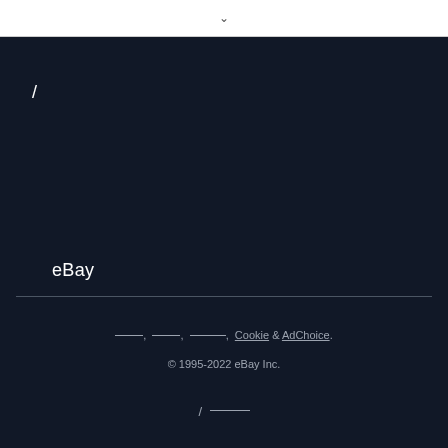[Figure (screenshot): eBay website footer screenshot showing dark background with navigation elements, eBay label, separator line, footer links including Cookie and AdChoice, copyright notice, and bottom navigation]
/ eBay
___, ___, _____, Cookie & AdChoice.
© 1995-2022 eBay Inc.
/ ____